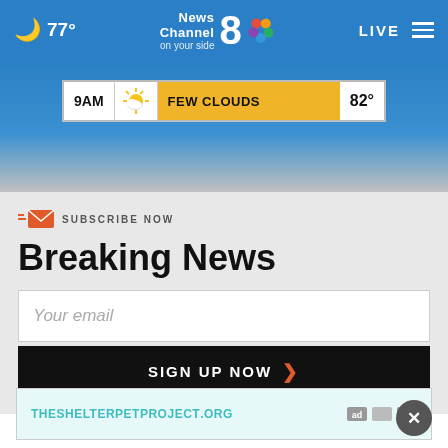77° News Channel 8 on your side LIVE
[Figure (screenshot): Weather forecast strip showing 9AM FEW CLOUDS 82°]
SUBSCRIBE NOW
Breaking News
Your email
SIGN UP NOW
[Figure (other): Ad banner for THESHELTERPETPROJECT.ORG]